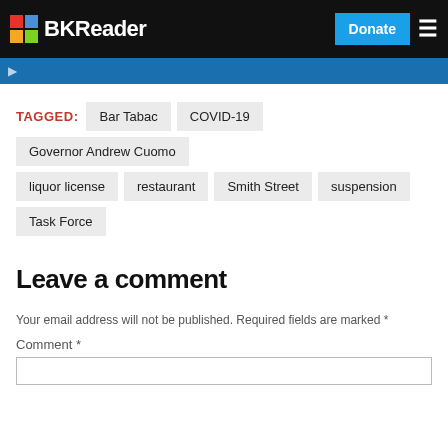BKReader
Bar Tabac
COVID-19
Governor Andrew Cuomo
liquor license
restaurant
Smith Street
suspension
Task Force
Leave a comment
Your email address will not be published. Required fields are marked *
Comment *